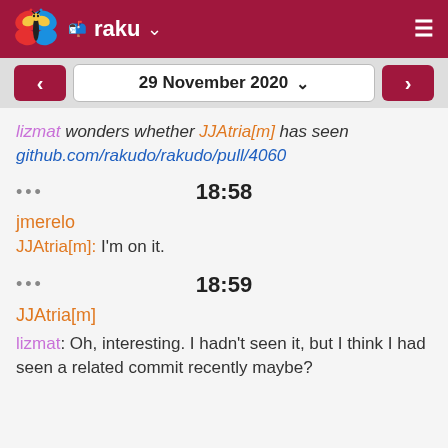raku
29 November 2020
lizmat wonders whether JJAtria[m] has seen github.com/rakudo/rakudo/pull/4060
... 18:58
jmerelo
JJAtria[m]: I'm on it.
... 18:59
JJAtria[m]
lizmat: Oh, interesting. I hadn't seen it, but I think I had seen a related commit recently maybe?